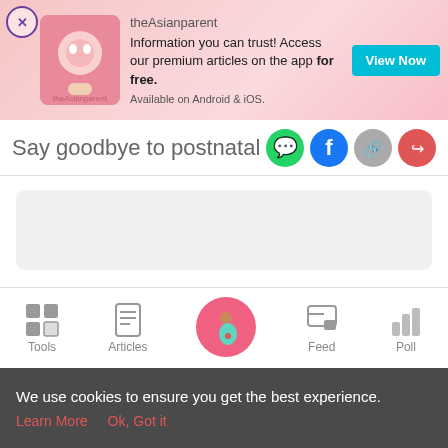[Figure (screenshot): Ad banner for theAsianparent app with pink gradient background, app logo image, text about premium articles, and a teal View Now button]
Say goodbye to postnatal fat and dep
[Figure (infographic): Social share icons: WhatsApp (green), Facebook (dark blue), link (grey), share (red/pink)]
[Figure (screenshot): Grey rounded rectangle placeholder content area]
[Figure (screenshot): White rounded rectangle with inner grey placeholder content area]
[Figure (infographic): Bottom navigation bar with Tools, Articles, center pink circle with pregnant woman icon, Feed, Poll]
We use cookies to ensure you get the best experience.
Learn More   Ok, Got it